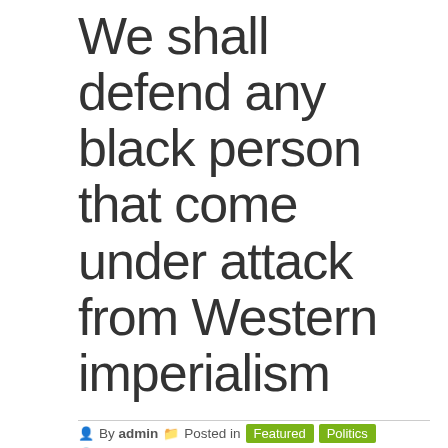We shall defend any black person that come under attack from Western imperialism
By admin  Posted in  Featured  Politics  Posted on April 24, 2017
By Khotso Masemola This article was submitted as part of the Think For Yourself competition. We spend our time admiring colonial objects. Our economy is controlled by white settler